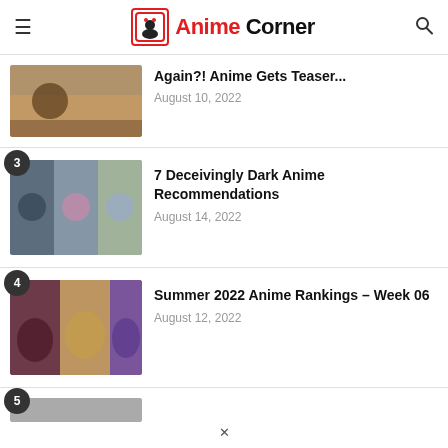Anime Corner
Again?! Anime Gets Teaser...
August 10, 2022
7 Deceivingly Dark Anime Recommendations
August 14, 2022
Summer 2022 Anime Rankings – Week 06
August 12, 2022